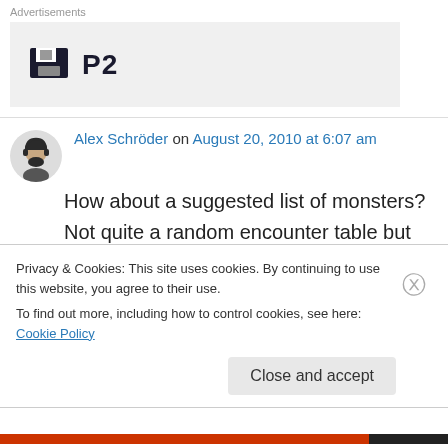Advertisements
[Figure (logo): P2 logo — dark square icon with floppy disk symbol and text 'P2' in bold]
Alex Schröder on August 20, 2010 at 6:07 am
How about a suggested list of monsters? Not quite a random encounter table but something of a start.
Privacy & Cookies: This site uses cookies. By continuing to use this website, you agree to their use.
To find out more, including how to control cookies, see here: Cookie Policy